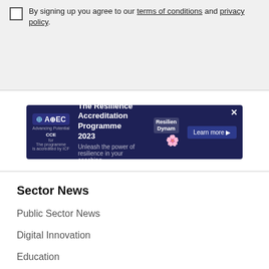By signing up you agree to our terms of conditions and privacy policy.
[Figure (infographic): AOEC advertisement banner for The Resilience Accreditation Programme 2023. Dark navy background with logo, text 'Unleash the power of resilience in your coaching', and a 'Learn more' button.]
Sector News
Public Sector News
Digital Innovation
Education